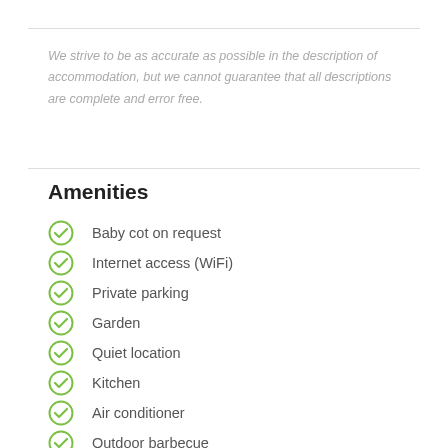We strive to be as accurate as possible in the description of accommodation, but we cannot guarantee that all descriptions are complete and error free.
Amenities
Baby cot on request
Internet access (WiFi)
Private parking
Garden
Quiet location
Kitchen
Air conditioner
Outdoor barbecue
Sandy beach near the accommodation